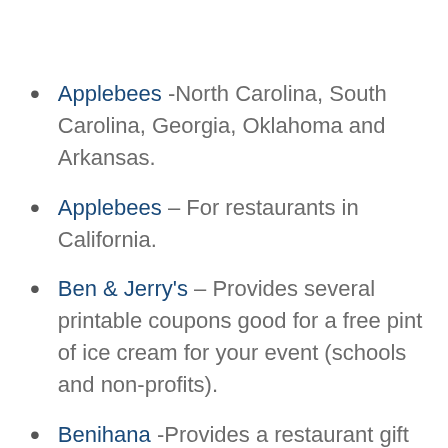Applebees -North Carolina, South Carolina, Georgia, Oklahoma and Arkansas.
Applebees – For restaurants in California.
Ben & Jerry's – Provides several printable coupons good for a free pint of ice cream for your event (schools and non-profits).
Benihana -Provides a restaurant gift certificate to a limited number of